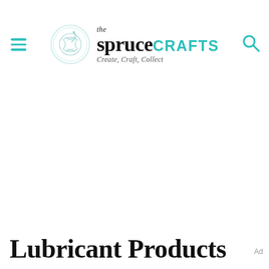the spruceCRAFTS — Create, Craft, Collect
Lubricant Products